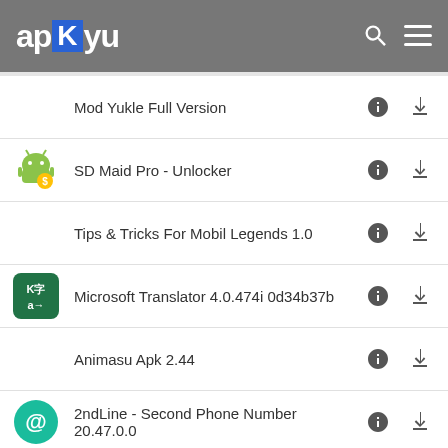apKyu
Mod Yukle Full Version
SD Maid Pro - Unlocker
Tips & Tricks For Mobil Legends 1.0
Microsoft Translator 4.0.474i 0d34b37b
Animasu Apk 2.44
2ndLine - Second Phone Number 20.47.0.0
Panda Gamepad Pro (BETA)